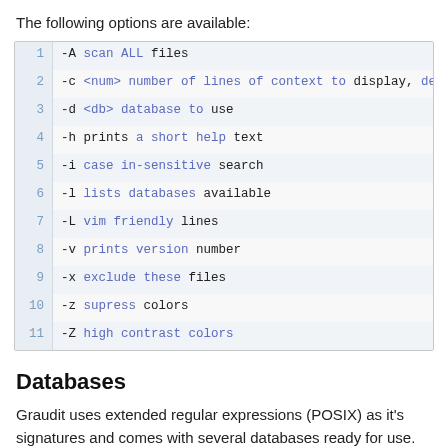The following options are available:
[Figure (screenshot): Code block showing command-line options numbered 1-11: -A scan ALL files, -c <num> number of lines of context to display defaul, -d <db> database to use, -h prints a short help text, -i case in-sensitive search, -l lists databases available, -L vim friendly lines, -v prints version number, -x exclude these files, -z supress colors, -Z high contrast colors]
Databases
Graudit uses extended regular expressions (POSIX) as it's signatures and comes with several databases ready for use. You can extend the existing databases or make your own if you require additional signatures.